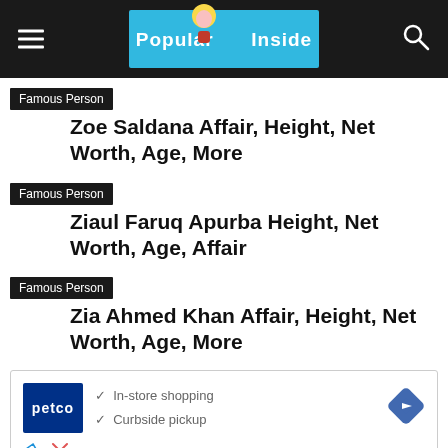Popular Inside
Famous Person — Zoe Saldana Affair, Height, Net Worth, Age, More
Famous Person — Ziaul Faruq Apurba Height, Net Worth, Age, Affair
Famous Person — Zia Ahmed Khan Affair, Height, Net Worth, Age, More
[Figure (infographic): Petco advertisement showing In-store shopping and Curbside pickup options with navigation diamond icon]